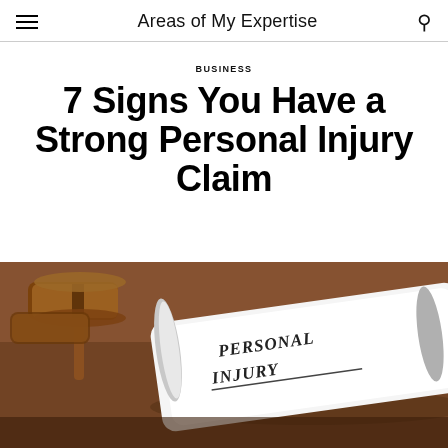Areas of My Expertise
BUSINESS
7 Signs You Have a Strong Personal Injury Claim
[Figure (photo): A rolled document labeled 'PERSONAL INJURY' resting next to a wooden judge's gavel on a wooden surface]